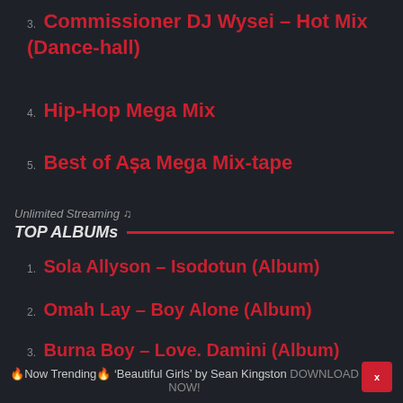3. Commissioner DJ Wysei – Hot Mix (Dance-hall)
4. Hip-Hop Mega Mix
5. Best of Aṣa Mega Mix-tape
Unlimited Streaming 🎵
TOP ALBUMs
1. Sola Allyson – Isodotun (Album)
2. Omah Lay – Boy Alone (Album)
3. Burna Boy – Love. Damini (Album)
🔥Now Trending🔥 'Beautiful Girls' by Sean Kingston DOWNLOAD NOW!